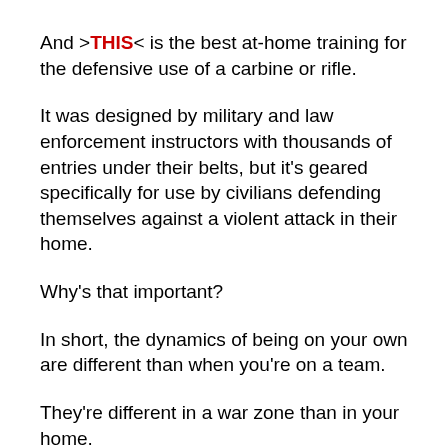And >THIS< is the best at-home training for the defensive use of a carbine or rifle.
It was designed by military and law enforcement instructors with thousands of entries under their belts, but it's geared specifically for use by civilians defending themselves against a violent attack in their home.
Why's that important?
In short, the dynamics of being on your own are different than when you're on a team.
They're different in a war zone than in your home.
And they're different when you are all geared up and ready for battle than when you're just relaxing at